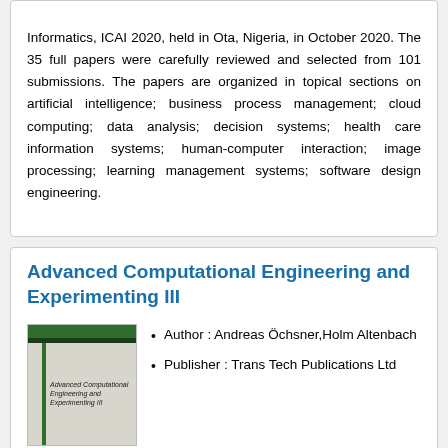Informatics, ICAI 2020, held in Ota, Nigeria, in October 2020. The 35 full papers were carefully reviewed and selected from 101 submissions. The papers are organized in topical sections on artificial intelligence; business process management; cloud computing; data analysis; decision systems; health care information systems; human-computer interaction; image processing; learning management systems; software design engineering.
Advanced Computational Engineering and Experimenting III
[Figure (illustration): Book cover of Advanced Computational Engineering and Experimenting III with green stripe at top and vertical green line on left side]
Author : Andreas Öchsner,Holm Altenbach
Publisher : Trans Tech Publications Ltd